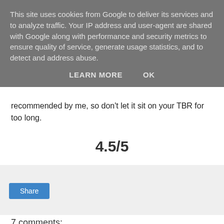This site uses cookies from Google to deliver its services and to analyze traffic. Your IP address and user-agent are shared with Google along with performance and security metrics to ensure quality of service, generate usage statistics, and to detect and address abuse.
LEARN MORE   OK
recommended by me, so don't let it sit on your TBR for too long.
4.5/5
[Figure (other): Share button in a light grey box]
7 comments:
Anonymous 7 April 2015 at 18:45